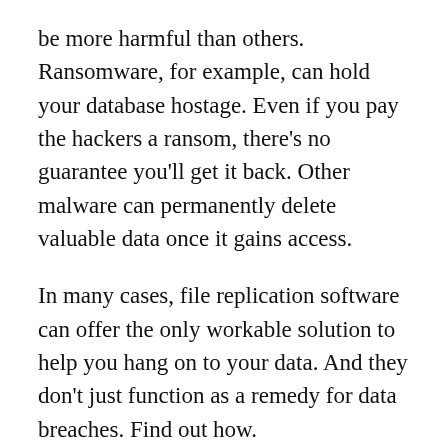be more harmful than others. Ransomware, for example, can hold your database hostage. Even if you pay the hackers a ransom, there's no guarantee you'll get it back. Other malware can permanently delete valuable data once it gains access.
In many cases, file replication software can offer the only workable solution to help you hang on to your data. And they don't just function as a remedy for data breaches. Find out how.
The Use of File Replication Software in Business